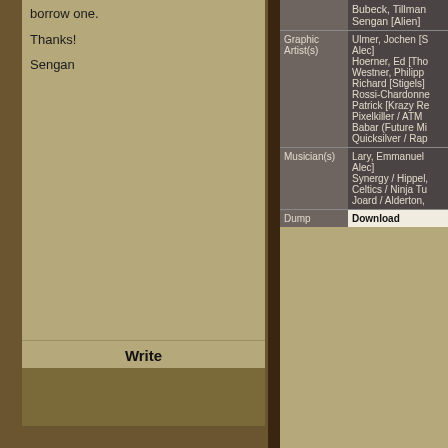borrow one.
Thanks!
Sengan
Write
| Role | Name |
| --- | --- |
|  | Bubeck, Tillman
Sengan [Alien] |
| Graphic Artist(s) | Ulmer, Jochen [S
Alec]
Hoerner, Ed [Tho
Westner, Philipp 
Richard [Stigels]
Rossi-Chardonne
Patrick [Krazy Re
Pixelkiller / ATM 
Babar (Future Mi
Quicksilver / Rap |
| Musician(s) | Lary, Emmanuel [
Alec]
Synergy / Hippel,
Celtics / Ninja Tu
Joard / Alderton, |
| Dump | Download |
ST Connexion screen doesn't work w first type HIDDENSCREEMESSAIG the demo "When colors are going ba